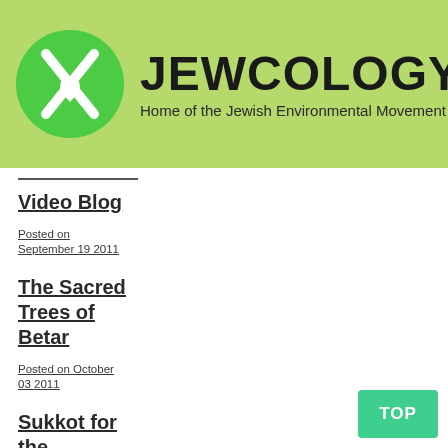[Figure (logo): Jewcology.org logo: green circle with white leaf/droplet icon, beside bold text JEWCOLOGY.ORG and subtitle Home of the Jewish Environmental Movement on a light green background]
Video Blog
Posted on September 19 2011
The Sacred Trees of Betar
Posted on October 03 2011
Sukkot for the Shretelech
Posted on October 17 2011
The Tower of Babel
Posted on October 31 2011